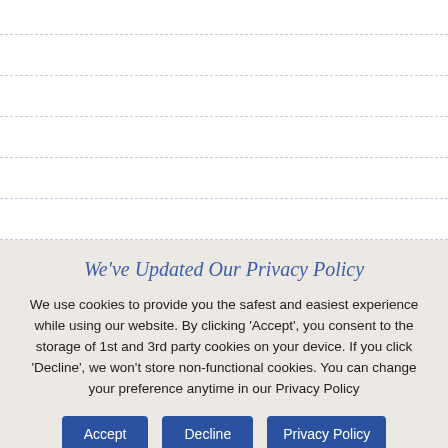Portfolio
Testimonials
Contact Us
Planning Permission
Need plans drawn up?
Terms & Conditions
We've Updated Our Privacy Policy
We use cookies to provide you the safest and easiest experience while using our website. By clicking 'Accept', you consent to the storage of 1st and 3rd party cookies on your device. If you click 'Decline', we won't store non-functional cookies. You can change your preference anytime in our Privacy Policy